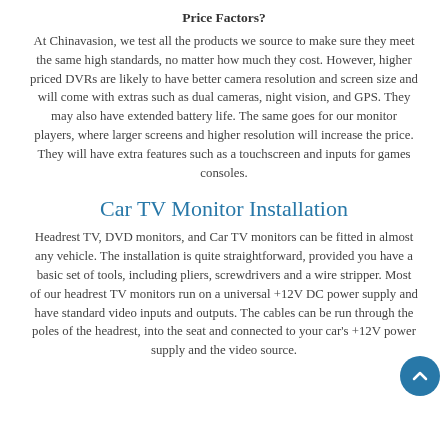Price Factors?
At Chinavasion, we test all the products we source to make sure they meet the same high standards, no matter how much they cost. However, higher priced DVRs are likely to have better camera resolution and screen size and will come with extras such as dual cameras, night vision, and GPS. They may also have extended battery life. The same goes for our monitor players, where larger screens and higher resolution will increase the price. They will have extra features such as a touchscreen and inputs for games consoles.
Car TV Monitor Installation
Headrest TV, DVD monitors, and Car TV monitors can be fitted in almost any vehicle. The installation is quite straightforward, provided you have a basic set of tools, including pliers, screwdrivers and a wire stripper. Most of our headrest TV monitors run on a universal +12V DC power supply and have standard video inputs and outputs. The cables can be run through the poles of the headrest, into the seat and connected to your car's +12V power supply and the video source.